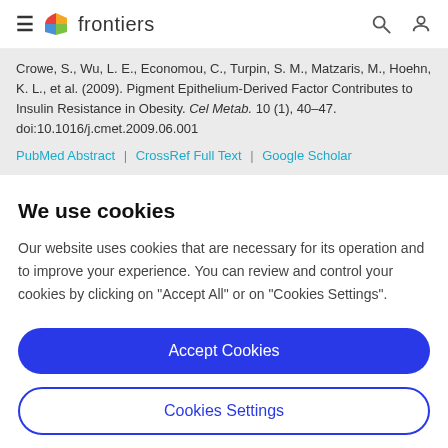frontiers (navigation bar with hamburger, logo, search, and user icons)
Crowe, S., Wu, L. E., Economou, C., Turpin, S. M., Matzaris, M., Hoehn, K. L., et al. (2009). Pigment Epithelium-Derived Factor Contributes to Insulin Resistance in Obesity. Cel Metab. 10 (1), 40–47. doi:10.1016/j.cmet.2009.06.001
PubMed Abstract | CrossRef Full Text | Google Scholar
We use cookies
Our website uses cookies that are necessary for its operation and to improve your experience. You can review and control your cookies by clicking on "Accept All" or on "Cookies Settings".
Accept Cookies
Cookies Settings